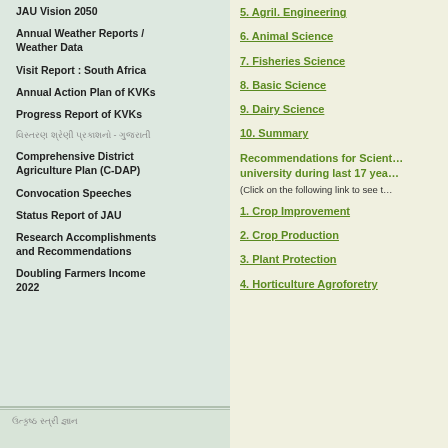JAU Vision 2050
Annual Weather Reports / Weather Data
Visit Report : South Africa
Annual Action Plan of KVKs
Progress Report of KVKs
વિસ્તરણ શ્રેણી પ્રકાશનો - ગુજરાતી
Comprehensive District Agriculture Plan (C-DAP)
Convocation Speeches
Status Report of JAU
Research Accomplishments and Recommendations
Doubling Farmers Income 2022
5. Agril. Engineering
6. Animal Science
7. Fisheries Science
8. Basic Science
9. Dairy Science
10. Summary
Recommendations for Scientific university during last 17 yea…
(Click on the following link to see t…
1. Crop Improvement
2. Crop Production
3. Plant Protection
4. Horticulture Agroforetry
ઉત્કૃષ્ઠ સ્ત્રી જ્ઞાન